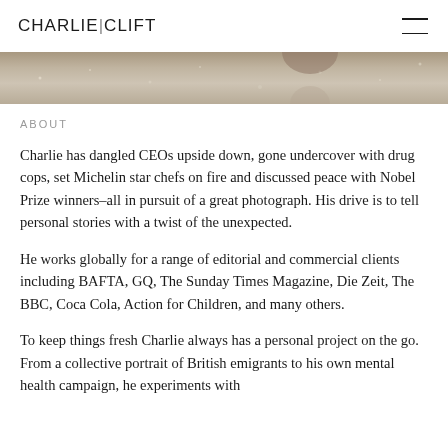CHARLIE|CLIFT
[Figure (photo): Partial photograph strip showing top of a person's head, used as a decorative banner]
ABOUT
Charlie has dangled CEOs upside down, gone undercover with drug cops, set Michelin star chefs on fire and discussed peace with Nobel Prize winners–all in pursuit of a great photograph. His drive is to tell personal stories with a twist of the unexpected.
He works globally for a range of editorial and commercial clients including BAFTA, GQ, The Sunday Times Magazine, Die Zeit, The BBC, Coca Cola, Action for Children, and many others.
To keep things fresh Charlie always has a personal project on the go. From a collective portrait of British emigrants to his own mental health campaign, he experiments with